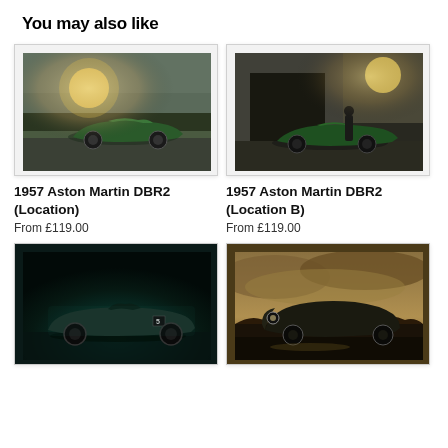You may also like
[Figure (photo): 1957 Aston Martin DBR2 racing car photographed outdoors at location, side profile, dramatic sunlight through trees, dark moody sky]
1957 Aston Martin DBR2 (Location)
From £119.00
[Figure (photo): 1957 Aston Martin DBR2 racing car photographed outside a garage building, dramatic backlit sunlight, dark moody tones]
1957 Aston Martin DBR2 (Location B)
From £119.00
[Figure (photo): 1957 Aston Martin DBR2 racing car number 5, studio shot on dark teal background, side profile view]
[Figure (photo): Vintage Aston Martin racing car photographed outdoors, dramatic stormy sky, sepia/golden tones, front three-quarter view]